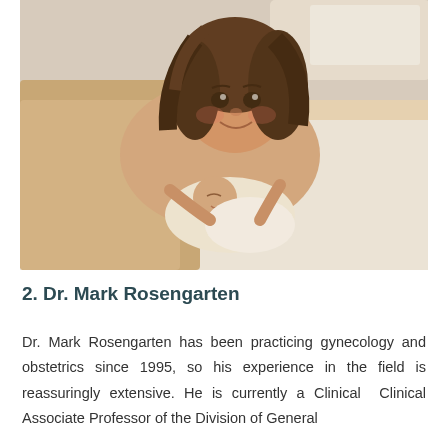[Figure (photo): A young girl lying on a bed with a newborn baby, smiling at the camera. The scene has warm beige and cream tones with white bedding in the background.]
2. Dr. Mark Rosengarten
Dr. Mark Rosengarten has been practicing gynecology and obstetrics since 1995, so his experience in the field is reassuringly extensive. He is currently a Clinical  Clinical Associate Professor of the Division of General